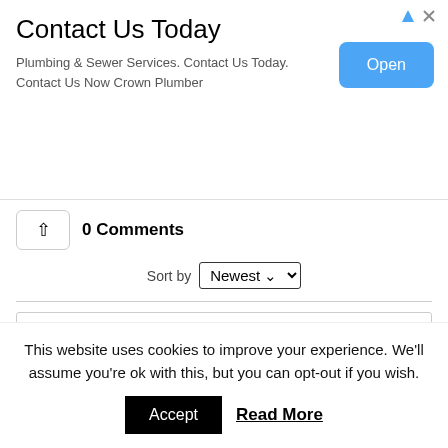[Figure (screenshot): Advertisement banner for plumbing services with title 'Contact Us Today', body text 'Plumbing & Sewer Services. Contact Us Today. Contact Us Now Crown Plumber', and a blue 'Open' button. Top-right shows ad attribution icons (blue triangle and X).]
0 Comments
Sort by Newest
Add a comment...
Facebook Comments Plugin
This website uses cookies to improve your experience. We'll assume you're ok with this, but you can opt-out if you wish.
Accept  Read More